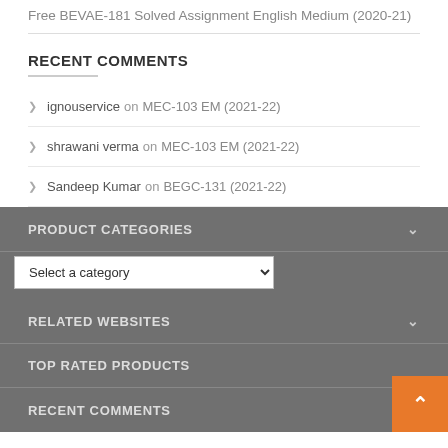Free BEVAE-181 Solved Assignment English Medium (2020-21)
RECENT COMMENTS
ignouservice on MEC-103 EM (2021-22)
shrawani verma on MEC-103 EM (2021-22)
Sandeep Kumar on BEGC-131 (2021-22)
PRODUCT CATEGORIES
Select a category
RELATED WEBSITES
TOP RATED PRODUCTS
RECENT COMMENTS